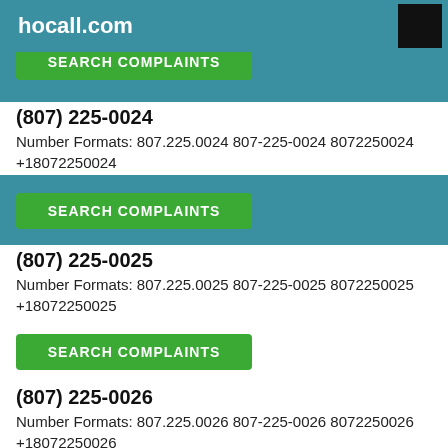hocall.com
SEARCH COMPLAINTS (partial, cropped at top)
(807) 225-0024
Number Formats: 807.225.0024 807-225-0024 8072250024 +18072250024
SEARCH COMPLAINTS
(807) 225-0025
Number Formats: 807.225.0025 807-225-0025 8072250025 +18072250025
SEARCH COMPLAINTS
(807) 225-0026
Number Formats: 807.225.0026 807-225-0026 8072250026 +18072250026
SEARCH COMPLAINTS
(807) 225-0027
Number Formats: 807.225.0027 807-225-0027 8072250027 +18072250027